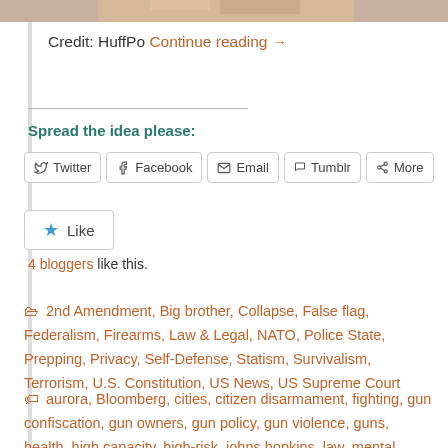[Figure (photo): Top strip of a photo (cropped faces/persons)]
Credit: HuffPo Continue reading →
Spread the idea please:
Twitter  Facebook  Email  Tumblr  More
Like
4 bloggers like this.
2nd Amendment, Big brother, Collapse, False flag, Federalism, Firearms, Law & Legal, NATO, Police State, Prepping, Privacy, Self-Defense, Statism, Survivalism, Terrorism, U.S. Constitution, US News, US Supreme Court
aurora, Bloomberg, cities, citizen disarmament, fighting, gun confiscation, gun owners, gun policy, gun violence, guns, health, high capacity, high-risk, johns hopkins, law, mental illness, michael,